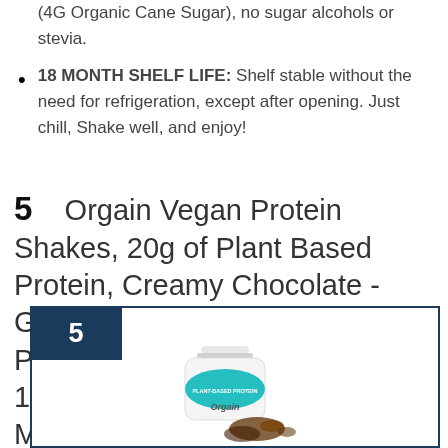(4G Organic Cane Sugar), no sugar alcohols or stevia.
18 MONTH SHELF LIFE: Shelf stable without the need for refrigeration, except after opening. Just chill, Shake well, and enjoy!
5    Orgain Vegan Protein Shakes, 20g of Plant Based Protein, Creamy Chocolate - Gluten Free, No Dairy, Soy, or Preservatives, No Added Sugar, 11 Fl Oz, 12 Count (Packaging May Vary)
[Figure (photo): Product card with number tab '5' in dark navy blue at top left, containing an image of Orgain Vegan Protein Shake bottle (Creamy Chocolate, Plant-Based Protein) with chocolate splash at the bottom.]